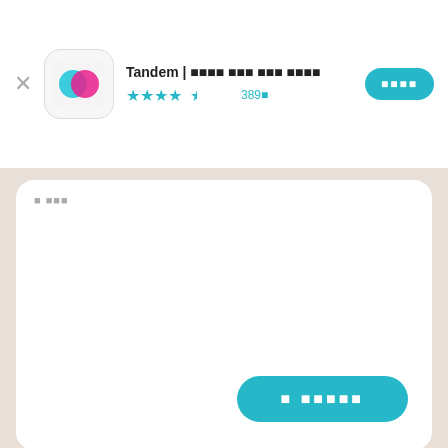[Figure (screenshot): Tandem app header with logo, title, star rating (4.5 stars, 389 reviews), and install button]
■ ■■
■ ■■■■■
[Figure (photo): Profile photo of Pia from Leipzig — young woman with blonde hair outdoors]
Pia
Leipzig
■■ 3
■■■■
🇩🇪 ■■■   🇺🇸 ■■
■■■■
🇨🇳 ■■■■ (■■)   🇹🇼 ■■■■ (■■■■)